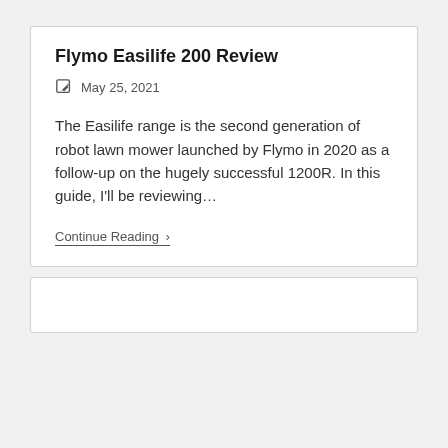Flymo Easilife 200 Review
May 25, 2021
The Easilife range is the second generation of robot lawn mower launched by Flymo in 2020 as a follow-up on the hugely successful 1200R. In this guide, I'll be reviewing…
Continue Reading ›